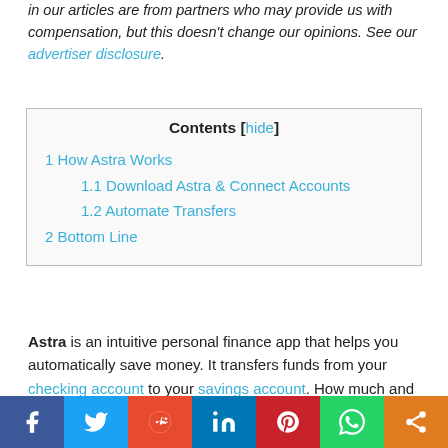in our articles are from partners who may provide us with compensation, but this doesn't change our opinions. See our advertiser disclosure.
| Contents [hide] |
| 1 How Astra Works |
| 1.1 Download Astra & Connect Accounts |
| 1.2 Automate Transfers |
| 2 Bottom Line |
Astra is an intuitive personal finance app that helps you automatically save money. It transfers funds from your checking account to your savings account. How much and how often is up to you. Let's get into all the nitty gritty details below.
[Figure (other): Social sharing bar with Facebook, Twitter, Reddit, LinkedIn, Pinterest, WhatsApp, and Share buttons]